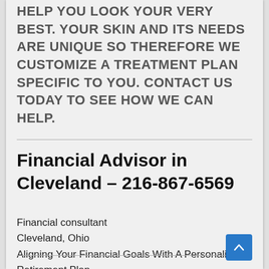HELP YOU LOOK YOUR VERY BEST. YOUR SKIN AND ITS NEEDS ARE UNIQUE SO THEREFORE WE CUSTOMIZE A TREATMENT PLAN SPECIFIC TO YOU. CONTACT US TODAY TO SEE HOW WE CAN HELP.
Financial Advisor in Cleveland – 216-867-6569
Financial consultant
Cleveland, Ohio
Aligning Your Financial Goals With A Personalized Retirement Plan